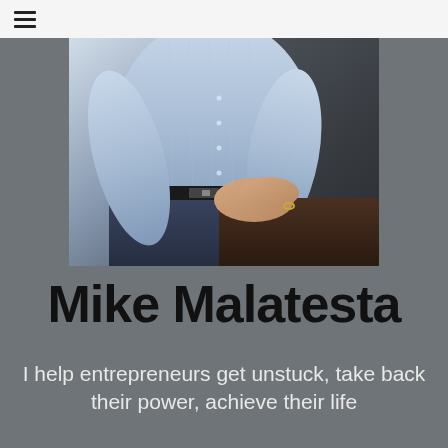≡
[Figure (photo): A man in a light blue plaid button-up shirt with arms resting/crossed on a surface, photographed from torso down, dark background]
Mike Malatesta
I help entrepreneurs get unstuck, take back their power, achieve their life